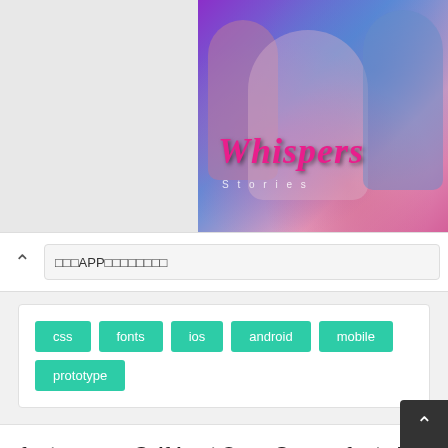[Figure (photo): Screenshot of a mobile app interface showing a game or app called 'Whispers' with colorful illustrated characters]
⌃  □□□APP□□□□□□□□
css
fonts
ios
android
mobile
prototype
fontsource - Self-host Open Source fonts in neatly bundled NPM packages.
★★★★★  CSS
Alternatively, you can see the list of supported fonts in Markdown format here. Self-hosting brings significant performance gains as loading fonts from hosted services, such as Google Fonts, lead to an extra